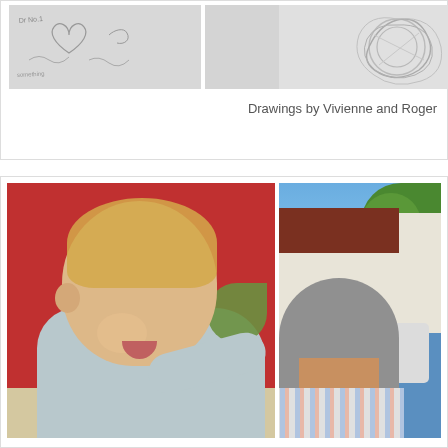[Figure (photo): Two pencil/ink drawings side by side - left appears to be a rough sketch with handwriting, right appears to be a circular scribble drawing]
Drawings by Vivienne and Roger
[Figure (photo): Two photos side by side - left shows a smiling toddler/baby with blonde hair against a red wall, right shows an outdoor scene with a person and house/caravan in background]